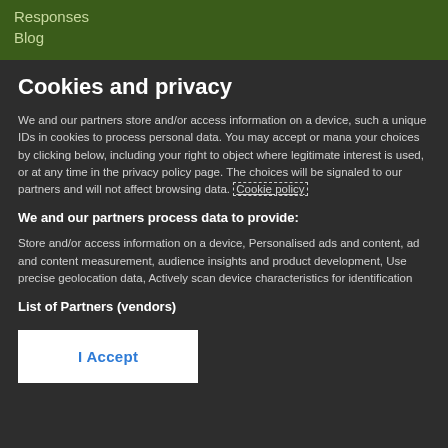Responses
Blog
Cookies and privacy
We and our partners store and/or access information on a device, such a unique IDs in cookies to process personal data. You may accept or manag your choices by clicking below, including your right to object where legitimate interest is used, or at any time in the privacy policy page. The choices will be signaled to our partners and will not affect browsing data. Cookie policy
We and our partners process data to provide:
Store and/or access information on a device, Personalised ads and content, ad and content measurement, audience insights and product development, Use precise geolocation data, Actively scan device characteristics for identification
List of Partners (vendors)
I Accept